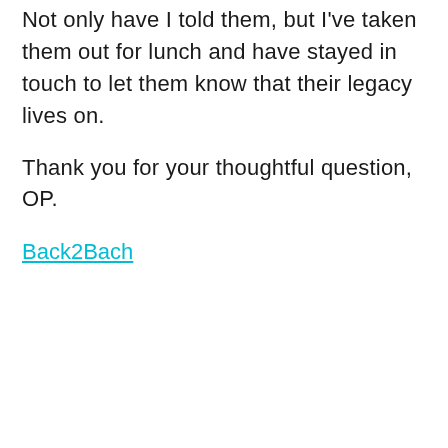Not only have I told them, but I've taken them out for lunch and have stayed in touch to let them know that their legacy lives on.
Thank you for your thoughtful question, OP.
Back2Bach